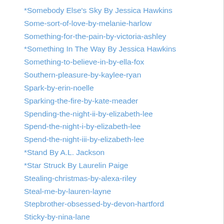*Somebody Else's Sky By Jessica Hawkins
Some-sort-of-love-by-melanie-harlow
Something-for-the-pain-by-victoria-ashley
*Something In The Way By Jessica Hawkins
Something-to-believe-in-by-ella-fox
Southern-pleasure-by-kaylee-ryan
Spark-by-erin-noelle
Sparking-the-fire-by-kate-meader
Spending-the-night-ii-by-elizabeth-lee
Spend-the-night-i-by-elizabeth-lee
Spend-the-night-iii-by-elizabeth-lee
*Stand By A.L. Jackson
*Star Struck By Laurelin Paige
Stealing-christmas-by-alexa-riley
Steal-me-by-lauren-layne
Stepbrother-obsessed-by-devon-hartford
Sticky-by-nina-lane
Still-life-by-am-johnson
Still-love-you-by-allie-everhart
Still-the-one-by-jill-shalvis
*Stolen Princess By Alexa Riley